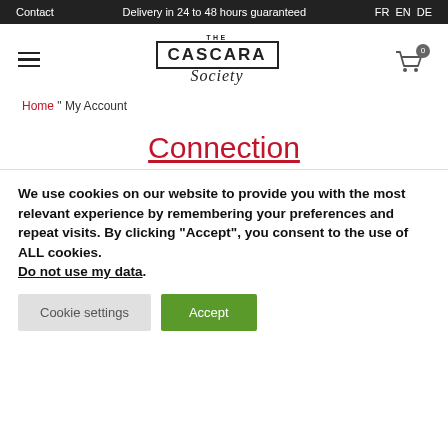Contact | Delivery in 24 to 48 hours guaranteed | FR EN DE
[Figure (logo): The Cascara Society logo with hamburger menu and cart icon]
Home " My Account
Connection
We use cookies on our website to provide you with the most relevant experience by remembering your preferences and repeat visits. By clicking "Accept", you consent to the use of ALL cookies. Do not use my data.
Cookie settings | Accept